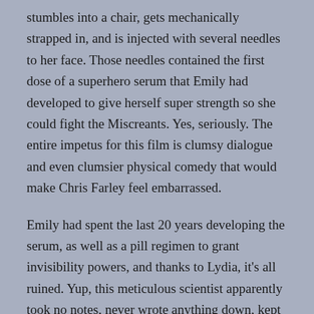stumbles into a chair, gets mechanically strapped in, and is injected with several needles to her face. Those needles contained the first dose of a superhero serum that Emily had developed to give herself super strength so she could fight the Miscreants. Yes, seriously. The entire impetus for this film is clumsy dialogue and even clumsier physical comedy that would make Chris Farley feel embarrassed.
Emily had spent the last 20 years developing the serum, as well as a pill regimen to grant invisibility powers, and thanks to Lydia, it's all ruined. Yup, this meticulous scientist apparently took no notes, never wrote anything down, kept no records of her experiments or progress, and there's simply no way to make the serum again to give it to herself. Also, there's no way to halt or reverse the process, so unless Lydia becomes a literal She-Hulk, she's going to